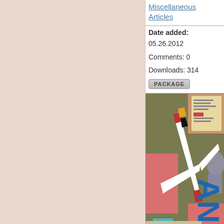Miscellaneous Articles
Date added: 05.26.2012
Comments: 0
Downloads: 314
PACKAGE
[Figure (photo): Magazine cover showing a white sail plane / glider aircraft against a colorful geometric background with the word ANSAR]
Ansar - Sail Plane (Artic...
(passaconst)